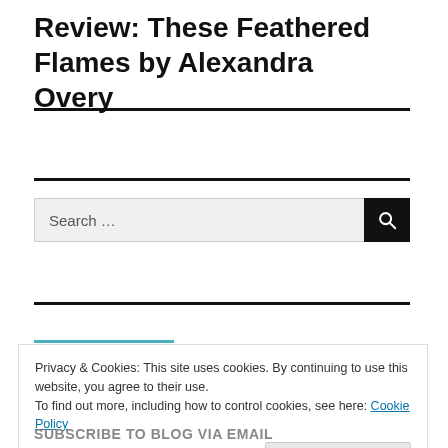Review: These Feathered Flames by Alexandra Overy
Search ...
Privacy & Cookies: This site uses cookies. By continuing to use this website, you agree to their use.
To find out more, including how to control cookies, see here: Cookie Policy
Close and accept
SUBSCRIBE TO BLOG VIA EMAIL